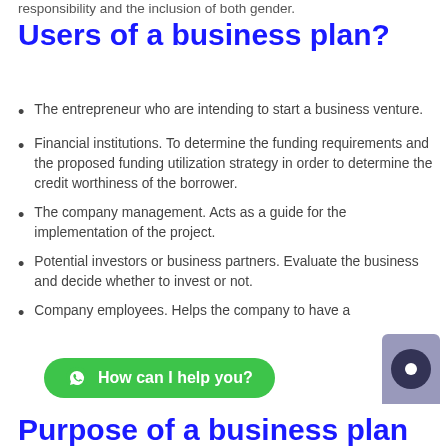responsibility and the inclusion of both gender.
Users of a business plan?
The entrepreneur who are intending to start a business venture.
Financial institutions. To determine the funding requirements and the proposed funding utilization strategy in order to determine the credit worthiness of the borrower.
The company management. Acts as a guide for the implementation of the project.
Potential investors or business partners. Evaluate the business and decide whether to invest or not.
Company employees. Helps the company to have a
Purpose of a business plan